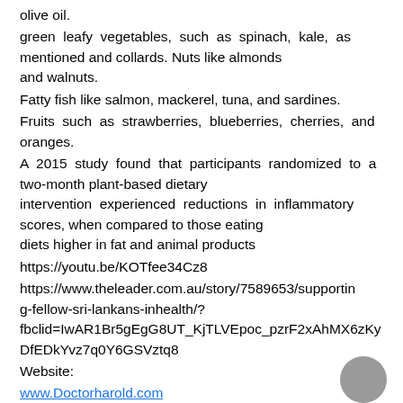olive oil.
green leafy vegetables, such as spinach, kale, as mentioned and collards. Nuts like almonds and walnuts.
Fatty fish like salmon, mackerel, tuna, and sardines.
Fruits such as strawberries, blueberries, cherries, and oranges.
A 2015 study found that participants randomized to a two-month plant-based dietary intervention experienced reductions in inflammatory scores, when compared to those eating diets higher in fat and animal products
https://youtu.be/KOTfee34Cz8
https://www.theleader.com.au/story/7589653/supporting-fellow-sri-lankans-inhealth/?fbclid=IwAR1Br5gEgG8UT_KjTLVEpoc_pzrF2xAhMX6zKyDfEDkYvz7q0Y6GSVztq8
Website:
www.Doctorharold.com
Doctors are now finding out the best way to reduce inflammatory processes in your body is not in the medicine cabinet, but in the refrigerator. Such anti-